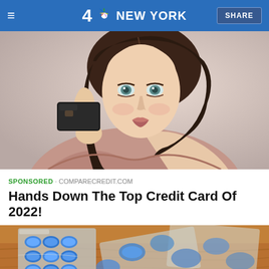4 NBC NEW YORK   SHARE
[Figure (photo): Young woman with brown hair holding a black card up near her face, smiling, wearing an off-shoulder sweater, on a light background.]
SPONSORED · COMPARECREDIT.COM
Hands Down The Top Credit Card Of 2022!
[Figure (photo): Close-up of blue pills/tablets in blister packs on a wooden surface, blurred background.]